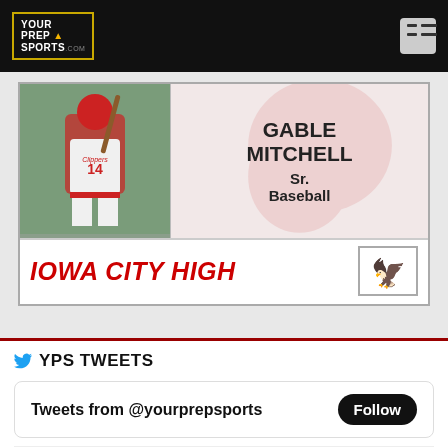YOUR PREP SPORTS .com
[Figure (infographic): Player profile card for Gable Mitchell, Sr. Baseball, Iowa City High. Shows athlete photo on left and name/grade/sport on right with school name and logo at bottom.]
YPS TWEETS
Tweets from @yourprepsports
Follow
Your Prep Sports @yourprepsports · 7h